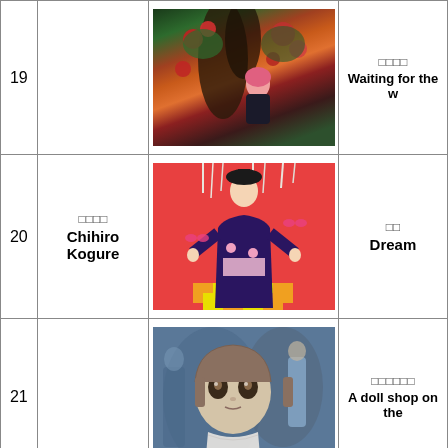| No. | Artist | Image | Title |
| --- | --- | --- | --- |
| 19 |  | [painting: girl with cat in flowers] | □□□□
Waiting for the w... |
| 20 | □□□□
Chihiro Kogure | [painting: girl in kimono on red] | □□
Dream |
| 21 |  | [painting: doll portrait] | □□□□□□
A doll shop on the... |